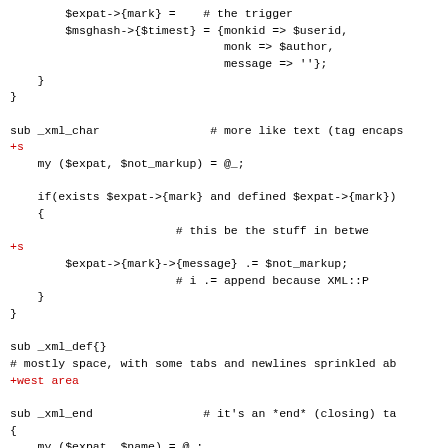Code snippet showing Perl XML parsing subroutines including _xml_char and _xml_end with comments about trigger, text, and tag handling.